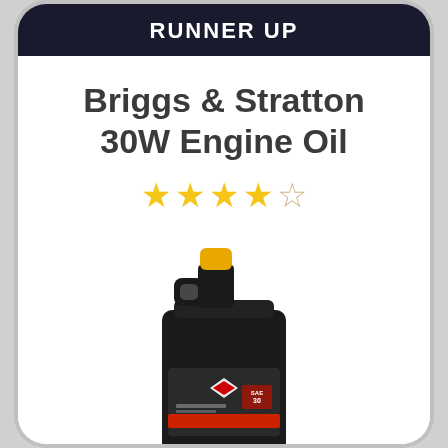RUNNER UP
Briggs & Stratton 30W Engine Oil
[Figure (infographic): Star rating showing 4 out of 5 stars (4 filled gold stars and 1 empty/outline star)]
[Figure (photo): Briggs & Stratton 30W Engine Oil bottle — a black plastic jug with a yellow cap and a red accent stripe label showing the Briggs & Stratton diamond logo]